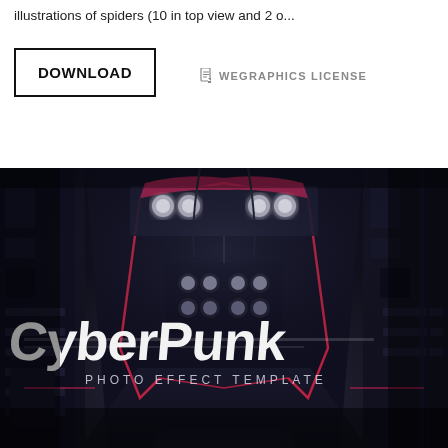illustrations of spiders (10 in top view and 2 o...
DOWNLOAD
WEGRAPHICS LICENSE
[Figure (photo): Cyberpunk photo effect template advertisement showing a dark alley with neon lights and stylized text reading 'CyberPunk - Photo Effect Template']